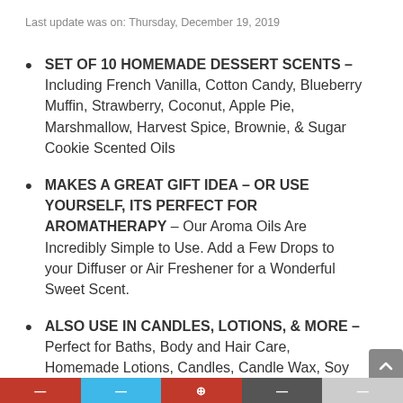Last update was on: Thursday, December 19, 2019
SET OF 10 HOMEMADE DESSERT SCENTS – Including French Vanilla, Cotton Candy, Blueberry Muffin, Strawberry, Coconut, Apple Pie, Marshmallow, Harvest Spice, Brownie, & Sugar Cookie Scented Oils
MAKES A GREAT GIFT IDEA – OR USE YOURSELF, ITS PERFECT FOR AROMATHERAPY – Our Aroma Oils Are Incredibly Simple to Use. Add a Few Drops to your Diffuser or Air Freshener for a Wonderful Sweet Scent.
ALSO USE IN CANDLES, LOTIONS, & MORE – Perfect for Baths, Body and Hair Care, Homemade Lotions, Candles, Candle Wax, Soy Wax, Soap